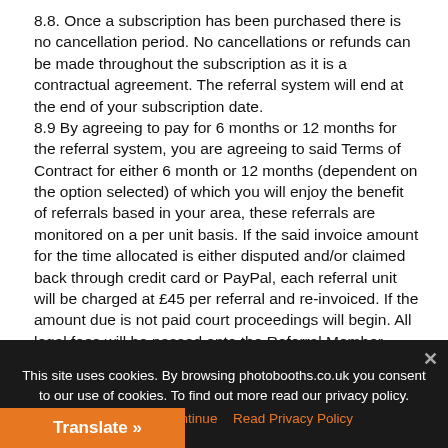8.8. Once a subscription has been purchased there is no cancellation period. No cancellations or refunds can be made throughout the subscription as it is a contractual agreement. The referral system will end at the end of your subscription date. 8.9 By agreeing to pay for 6 months or 12 months for the referral system, you are agreeing to said Terms of Contract for either 6 month or 12 months (dependent on the option selected) of which you will enjoy the benefit of referrals based in your area, these referrals are monitored on a per unit basis. If the said invoice amount for the time allocated is either disputed and/or claimed back through credit card or PayPal, each referral unit will be charged at £45 per referral and re-invoiced. If the amount due is not paid court proceedings will begin. All legal fees will be passed onto the Referral Member. 9.0 There is no automatic renewal. Please enquire should you wish to renew. 9.1 After the referral has gone out it is the responsibility of the Booth owner to follow up with correspondence.
This site uses cookies. By browsing photobooths.co.uk you consent to our use of cookies. To find out more read our privacy policy.
Accept and continue   Read Privacy Policy